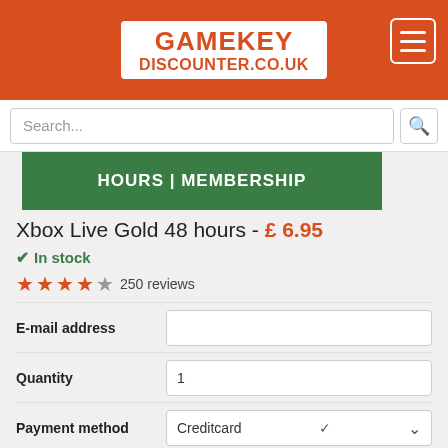[Figure (logo): Gamekey Discounter logo on orange/red header background with hamburger menu icon]
[Figure (screenshot): Search bar with placeholder text 'Search...' and magnifying glass icon]
[Figure (screenshot): Green banner with text 'HOURS | MEMBERSHIP']
Xbox Live Gold 48 hours - £ 6.95
✔ In stock
★★★★☆ 250 reviews
| Field | Value |
| --- | --- |
| E-mail address |  |
| Quantity | 1 |
| Payment method | Creditcard |
| Transaction fee: | £ 0.00 |
| Total: | £ 6.95 |